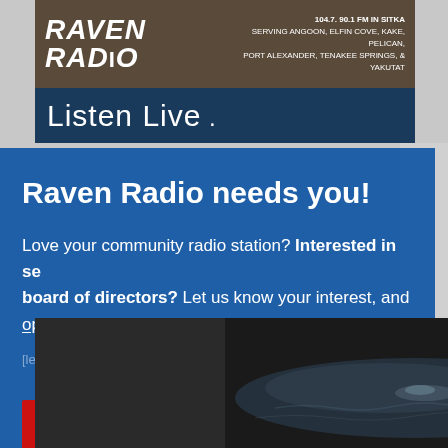[Figure (screenshot): Raven Radio website header showing logo and '104.7, 90.1 FM IN SITKA, Serving Angoon, Elfin Cove, Kake, Pelican, Port Alexander, Tenakee Springs, & Yakutat']
Raven Radio needs you!
Love your community radio station? Interested in serving on our board of directors? Let us know your interest, and learn more about this opportunity.
[Figure (illustration): Red click here button]